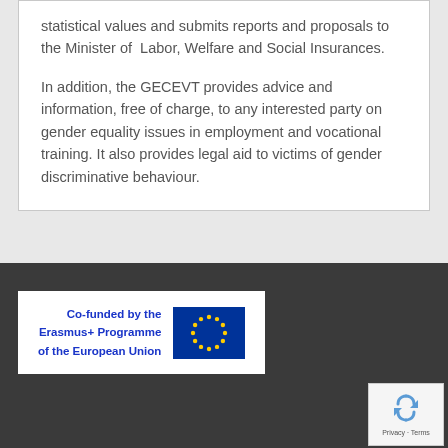statistical values and submits reports and proposals to the Minister of Labor, Welfare and Social Insurances.
In addition, the GECEVT provides advice and information, free of charge, to any interested party on gender equality issues in employment and vocational training. It also provides legal aid to victims of gender discriminative behaviour.
[Figure (logo): Co-funded by the Erasmus+ Programme of the European Union logo with EU flag showing circle of stars on blue background]
[Figure (other): reCAPTCHA widget with recycling arrows icon and Privacy - Terms text]